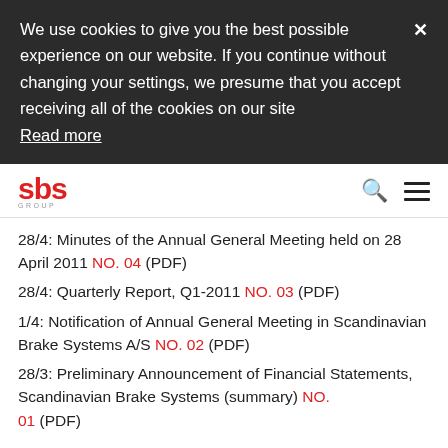We use cookies to give you the best possible experience on our website. If you continue without changing your settings, we presume that you accept receiving all of the cookies on our site Read more
[Figure (logo): SBS Group logo in red with 'GROUP' below in small grey letters]
28/4: Minutes of the Annual General Meeting held on 28 April 2011 NO. 04 (PDF)
28/4: Quarterly Report, Q1-2011 NO. 03 (PDF)
1/4: Notification of Annual General Meeting in Scandinavian Brake Systems A/S NO. 02 (PDF)
28/3: Preliminary Announcement of Financial Statements, Scandinavian Brake Systems (summary) NO. 01 (PDF)